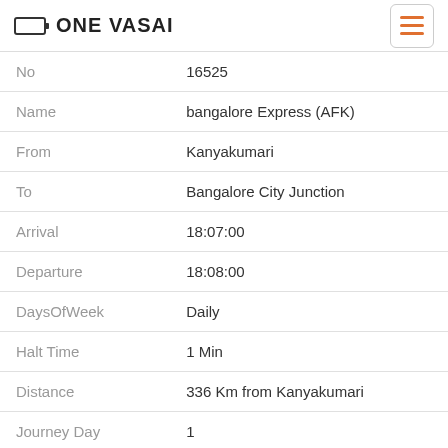ONE VASAI
| No | 16525 |
| Name | bangalore Express (AFK) |
| From | Kanyakumari |
| To | Bangalore City Junction |
| Arrival | 18:07:00 |
| Departure | 18:08:00 |
| DaysOfWeek | Daily |
| Halt Time | 1 Min |
| Distance | 336 Km from Kanyakumari |
| Journey Day | 1 |
| No | 56608 |
| Name | ernakulam - Shoranur |